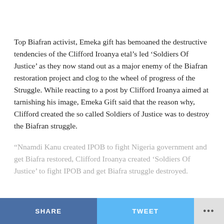Top Biafran activist, Emeka gift has bemoaned the destructive tendencies of the Clifford Iroanya etal’s led ‘Soldiers Of Justice’ as they now stand out as a major enemy of the Biafran restoration project and clog to the wheel of progress of the Struggle. While reacting to a post by Clifford Iroanya aimed at tarnishing his image, Emeka Gift said that the reason why, Clifford created the so called Soldiers of Justice was to destroy the Biafran struggle.
“Nnamdi Kanu created IPOB to fight Nigeria government and get Biafra restored, Clifford Iroanya created ‘Soldiers Of Justice’ to fight IPOB and get Biafra struggle destroyed.
SHARE   TWEET   •••